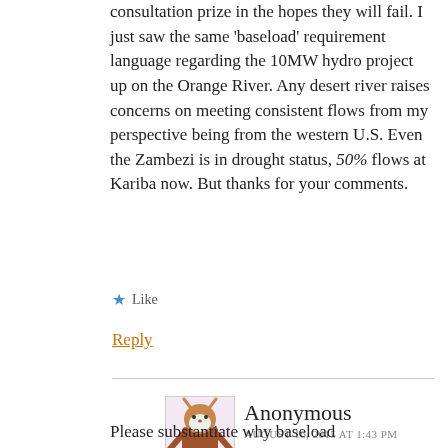consultation prize in the hopes they will fail. I just saw the same ‘baseload’ requirement language regarding the 10MW hydro project up on the Orange River. Any desert river raises concerns on meeting consistent flows from my perspective being from the western U.S. Even the Zambezi is in drought status, 50% flows at Kariba now. But thanks for your comments.
Like
Reply
Anonymous
AUGUST 16, 2015 AT 1:43 PM
Please substantiate why baseload